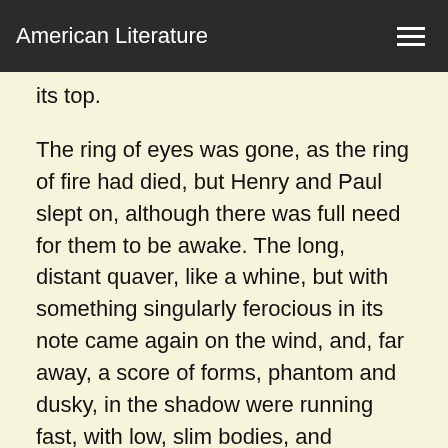American Literature
its top.
The ring of eyes was gone, as the ring of fire had died, but Henry and Paul slept on, although there was full need for them to be awake. The long, distant quaver, like a whine, but with something singularly ferocious in its note came again on the wind, and, far away, a score of forms, phantom and dusky, in the shadow were running fast, with low, slim bodies, and outstretched nostrils that had in them a grateful odor of food, soon to come. Nature had given to Henry Ware a physical mechanism of great strength, but as delicate as that of a watch. Any jar to the wheels and springs was registered at